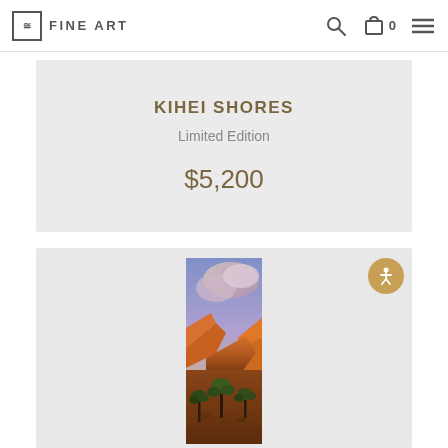FINE ART
KIHEI SHORES
Limited Edition
$5,200
[Figure (photo): Vertical panoramic photograph of a desert canyon landscape at sunrise/sunset, showing red rock formations, dramatic pink-purple clouds, and Joshua trees in the foreground.]